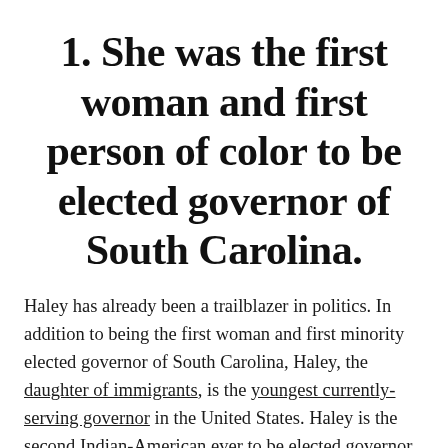1. She was the first woman and first person of color to be elected governor of South Carolina.
Haley has already been a trailblazer in politics. In addition to being the first woman and first minority elected governor of South Carolina, Haley, the daughter of immigrants, is the youngest currently-serving governor in the United States. Haley is the second Indian-American ever to be elected governor, after Bobby Jindal, who served as governor of Louisiana between 2008 and 2016.